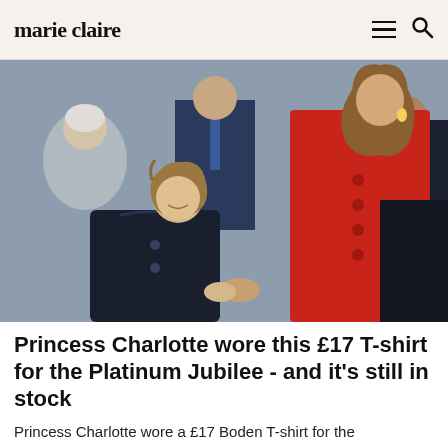marie claire
[Figure (photo): Princess Charlotte in a navy coat holding hands with a woman in a red coat (Kate Middleton), surrounded by other people at an outdoor event.]
Princess Charlotte wore this £17 T-shirt for the Platinum Jubilee - and it's still in stock
Princess Charlotte wore a £17 Boden T-shirt for the